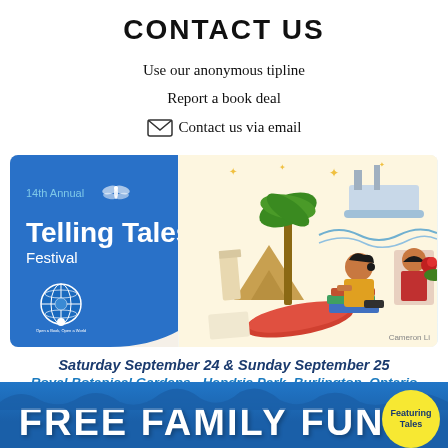CONTACT US
Use our anonymous tipline
Report a book deal
Contact us via email
[Figure (illustration): 14th Annual Telling Tales Festival banner with blue blob shape on left showing festival name and dragonfly logo, globe icon at bottom left, and illustrated scene on right showing a girl reading a book surrounded by landmarks including pyramids, palm trees, and a ship]
Saturday September 24 & Sunday September 25
Royal Botanical Gardens - Hendrie Park, Burlington, Ontario
[Figure (illustration): Blue banner at bottom with text FREE FAMILY FUN! and a yellow starburst bubble on the right saying Featuring Tales]